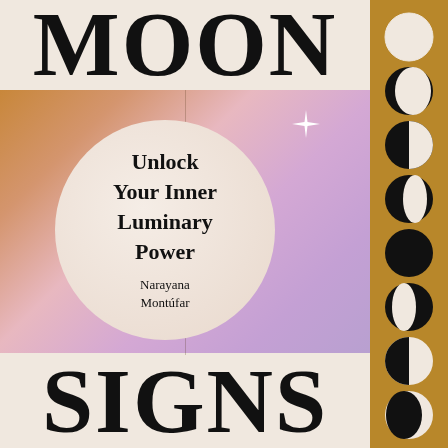MOON SIGNS
Unlock Your Inner Luminary Power
Narayana Montúfar
[Figure (illustration): Book cover for Moon Signs by Narayana Montúfar. Features a gradient background in gold/peach/lavender tones split by a vertical line, a cream circle in the center containing the subtitle and author name, a sparkle star, and a vertical column of moon phase icons on a gold sidebar on the right.]